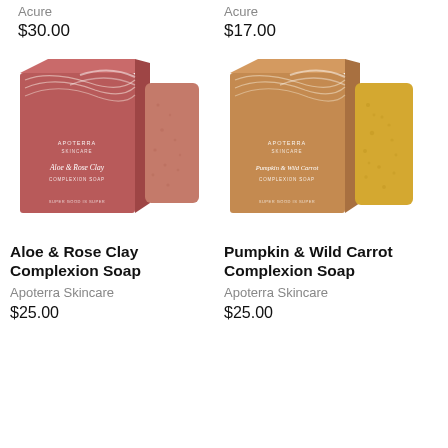Acure
$30.00
Acure
$17.00
[Figure (photo): Apoterra Skincare Aloe & Rose Clay Complexion Soap product box (dark rose/pink color with wavy line design and APOTERRA SKINCARE branding) next to a unwrapped pink/rose clay soap bar]
[Figure (photo): Apoterra Skincare Pumpkin & Wild Carrot Complexion Soap product box (warm tan/brown color with wavy line design and APOTERRA SKINCARE branding) next to a unwrapped yellow/golden soap bar]
Aloe & Rose Clay Complexion Soap
Apoterra Skincare
$25.00
Pumpkin & Wild Carrot Complexion Soap
Apoterra Skincare
$25.00